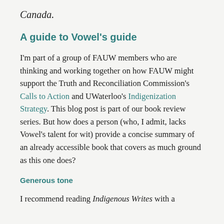Canada.
A guide to Vowel's guide
I'm part of a group of FAUW members who are thinking and working together on how FAUW might support the Truth and Reconciliation Commission's Calls to Action and UWaterloo's Indigenization Strategy. This blog post is part of our book review series. But how does a person (who, I admit, lacks Vowel's talent for wit) provide a concise summary of an already accessible book that covers as much ground as this one does?
Generous tone
I recommend reading Indigenous Writes with a